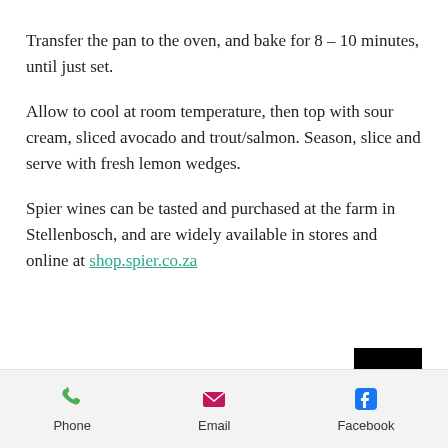Transfer the pan to the oven, and bake for 8 – 10 minutes, until just set.
Allow to cool at room temperature, then top with sour cream, sliced avocado and trout/salmon. Season, slice and serve with fresh lemon wedges.
Spier wines can be tasted and purchased at the farm in Stellenbosch, and are widely available in stores and online at shop.spier.co.za
[Figure (other): Black square button with white upward arrow (scroll to top button)]
Food/Wine  •  Food & Dining  •  Wines & Spirits
Phone  Email  Facebook